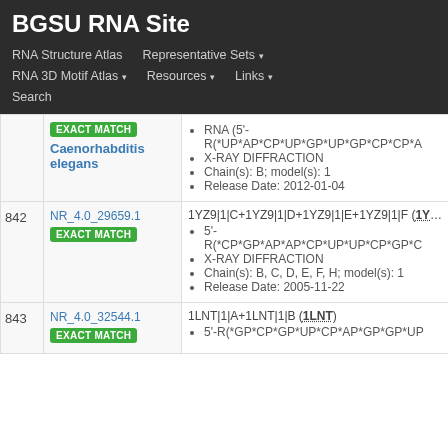BGSU RNA Site
RNA Structure Atlas | Representative Sets ▾ | RNA 3D Motif Atlas ▾ | Resources ▾ | Links ▾ | Search
| # | ID / Match | Details |
| --- | --- | --- |
|  | EXACT MATCH
Caenorhabditis elegans | RNA (5'-R(*UP*AP*CP*UP*GP*UP*GP*CP*CP*A…
X-RAY DIFFRACTION
Chain(s): B; model(s): 1
Release Date: 2012-01-04 |
| 842 | NR_4.0_29659.1
EXACT MATCH | 1YZ9|1|C+1YZ9|1|D+1YZ9|1|E+1YZ9|1|F (1Y…
5'-R(*CP*GP*AP*AP*CP*UP*UP*CP*GP*C…
X-RAY DIFFRACTION
Chain(s): B, C, D, E, F, H; model(s): 1
Release Date: 2005-11-22 |
| 843 | NR_4.0_32544.1
EXACT MATCH | 1LNT|1|A+1LNT|1|B (1LNT)
5'-R(*GP*CP*GP*UP*CP*AP*GP*GP*UP… |